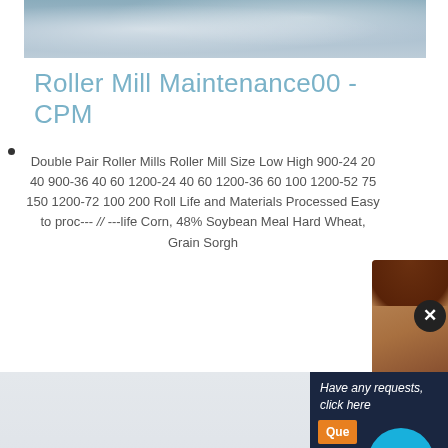[Figure (photo): Top strip showing snow-covered rocky landscape or white crystalline material]
Roller Mill Maintenance00 - CPM
Double Pair Roller Mills Roller Mill Size Low High 900-24 20 40 900-36 40 60 1200-24 40 60 1200-36 60 100 1200-52 75 150 1200-72 100 200 Roll Life and Materials Processed Easy to proc--- // ---life Corn, 48% Soybean Meal Hard Wheat, Grain Sorgh
[Figure (photo): Chat popup with avatar icon of 'bella', showing message: Welcome to Liming Heavy Industry! Now our on-line service is chatting with you! please choose: 1.English]
[Figure (photo): Bottom section showing industrial mobile crushing machinery (Liming brand) on white/grey background]
Have any requests, click here
Que
1
Enquiry
limingjlmofen@sina.com